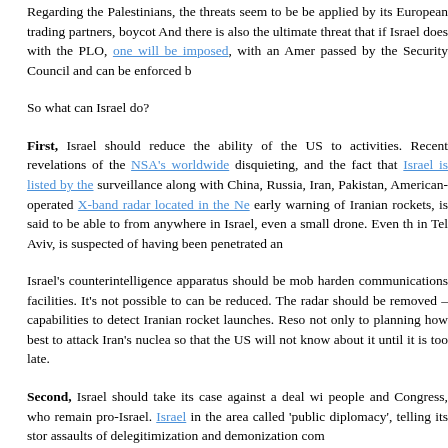Regarding the Palestinians, the threats seem to be be applied by its European trading partners, boycot And there is also the ultimate threat that if Israel does with the PLO, one will be imposed, with an Amer passed by the Security Council and can be enforced b
So what can Israel do?
First, Israel should reduce the ability of the US to activities. Recent revelations of the NSA's worldwide disquieting, and the fact that Israel is listed by the surveillance along with China, Russia, Iran, Pakistan, American-operated X-band radar located in the Ne early warning of Iranian rockets, is said to be able to from anywhere in Israel, even a small drone. Even th in Tel Aviv, is suspected of having been penetrated an
Israel's counterintelligence apparatus should be mob harden communications facilities. It's not possible to can be reduced. The radar should be removed – capabilities to detect Iranian rocket launches. Reso not only to planning how best to attack Iran's nuclea so that the US will not know about it until it is too late.
Second, Israel should take its case against a deal wi people and Congress, who remain pro-Israel. Israel in the area called 'public diplomacy', telling its stor assaults of delegitimization and demonization com